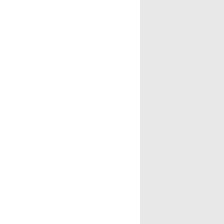And like a voice eternal spake

That wondrous rhythm, an
It murmured, "Bow thy hea
Life's rapture and life's ill,

"And wait. At last all shall be cle

The long, low, mellow mu
And fell, and soothed my dr
With infinite repose.

Sighing I climbed the light-hous

Half forgetting my grief an
And while the day died, sw
I lit the lamps again.
JACK THE FISHERMAN.
Jack was a Fairharbor boy. He money when he had any. But at r